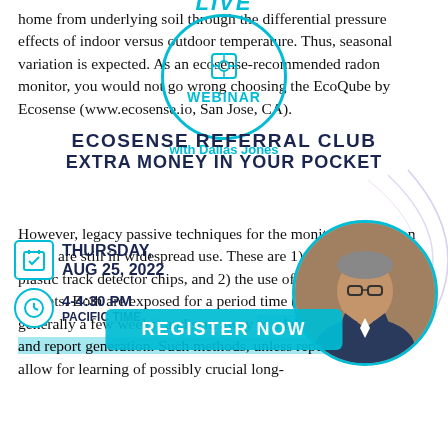[Figure (infographic): Live Webinar promotional overlay with circle icon containing microphone/grid symbol, 'LIVE' text above and 'WEBINAR' text inside circle, 'with Dallas Jones' subtitle in teal/cyan color]
home from underlying soil through the differential pressure effects of indoor versus outdoor temperature. Thus, seasonal variation is expected. As an ecosense-recommended radon monitor, you would not go wrong choosing the EcoQube by Ecosense (www.ecosense.io, San Jose, CA).
[Figure (infographic): Ecosense Referral Club overlay text in dark navy bold caps: 'ECOSENSE REFERRAL CLUB' and 'EXTRA MONEY IN YOUR POCKET']
[Figure (infographic): Calendar icon with checkmark showing THURSDAY, AUG 25, 2022 and clock icon showing 4-4:30 PM PACIFIC TIME, overlaid on the document text]
[Figure (photo): Circular cropped photo of a man with glasses in a suit jacket, positioned right side]
However, legacy passive techniques for the monitoring of radon levels are still in widespread use. These are 1) the use of CR-39 plastic track detector chips, and 2) the use of activated carbon packets. Both are exposed for a period time (the user's choice, but generally a few weeks) and sent away to a laboratory for analysis and report generation. Such methods, unless repeated, do not allow for learning of possibly crucial long-term exposure variations. The advantage
[Figure (infographic): Register Now button in teal/cyan color overlaid on highlighted text]